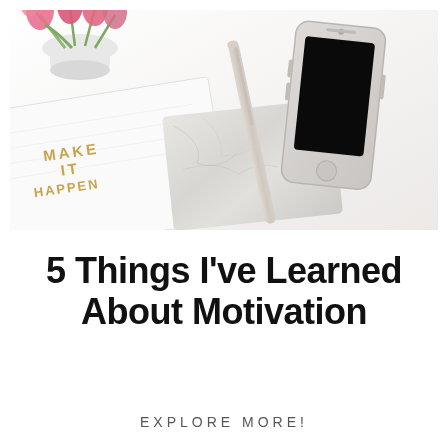[Figure (photo): Flat lay photo on white background showing a notebook with 'MAKE IT HAPPEN' text in gold, a marble pen and pad, a smartphone with black screen, and pink tulips in a white vase in the top-left corner.]
5 Things I've Learned About Motivation
EXPLORE MORE!